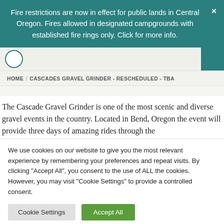Fire restrictions are now in effect for public lands in Central Oregon. Fires allowed in designated campgrounds with established fire rings only. Click for more info.
HOME / CASCADES GRAVEL GRINDER - RESCHEDULED - TBA
The Cascade Gravel Grinder is one of the most scenic and diverse gravel events in the country. Located in Bend, Oregon the event will provide three days of amazing rides through the
We use cookies on our website to give you the most relevant experience by remembering your preferences and repeat visits. By clicking "Accept All", you consent to the use of ALL the cookies. However, you may visit "Cookie Settings" to provide a controlled consent.
Cookie Settings  Accept All